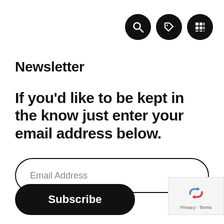[Figure (other): Three black circular icon buttons in top-right: search (magnifying glass), tag/label, and grid/menu icons]
Newsletter
If you'd like to be kept in the know just enter your email address below.
[Figure (other): Email address input field with rounded pill border and placeholder text 'Email Address']
[Figure (other): Black rounded pill Subscribe button]
[Figure (other): reCAPTCHA badge with Privacy and Terms links in bottom right corner]